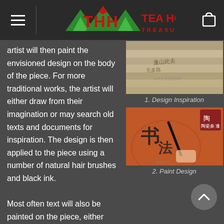Tea Horse Treasures
artist will then paint the envisioned design on the body of the piece. For more traditional works, the artist will either draw from their imagination or may search old texts and documents for inspiration. The design is then applied to the piece using a number of natural hair brushes and black ink.
[Figure (photo): Close-up photo of aged wood or bamboo surface with text markings — Design Inspiration reference image]
1. Design Inspiration
[Figure (photo): Photo of an artist painting Chinese calligraphy on a reddish-brown ceramic teapot with a brush]
2. Paint Design
Most often text will also be painted on the piece, either from famous Tang Poems, possible thoughts of